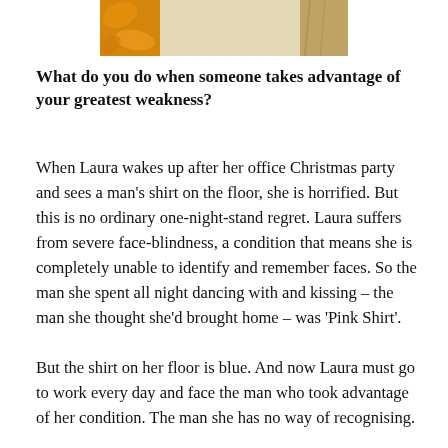[Figure (photo): Partial image of a warm-toned background with what appears to be an orange/golden texture on the left and a beige/paper-like area in the center, partially cropped at the top of the page.]
What do you do when someone takes advantage of your greatest weakness?
When Laura wakes up after her office Christmas party and sees a man's shirt on the floor, she is horrified. But this is no ordinary one-night-stand regret. Laura suffers from severe face-blindness, a condition that means she is completely unable to identify and remember faces. So the man she spent all night dancing with and kissing – the man she thought she'd brought home – was 'Pink Shirt'.
But the shirt on her floor is blue. And now Laura must go to work every day and face the man who took advantage of her condition. The man she has no way of recognising.